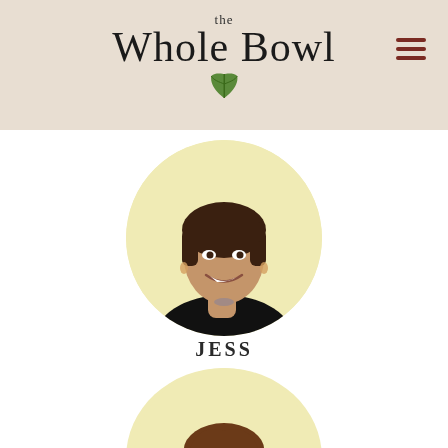[Figure (logo): The Whole Bowl logo with cursive/serif text and a green leaf icon below]
[Figure (photo): Circular profile photo of a woman named Jess with dark hair and bangs, wearing a black top, yellow background]
JESS
[Figure (photo): Circular profile photo of a man with brown hair and beard, partial view, yellow background]